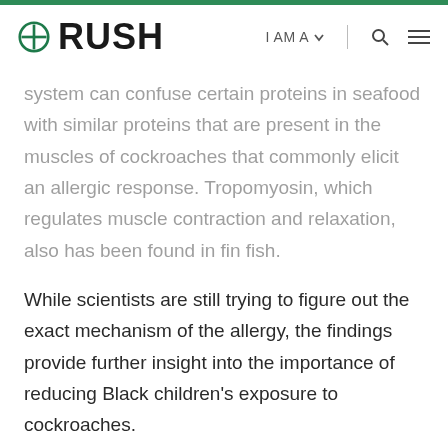RUSH | I AM A | [search] [menu]
system can confuse certain proteins in seafood with similar proteins that are present in the muscles of cockroaches that commonly elicit an allergic response. Tropomyosin, which regulates muscle contraction and relaxation, also has been found in fin fish.
While scientists are still trying to figure out the exact mechanism of the allergy, the findings provide further insight into the importance of reducing Black children's exposure to cockroaches.
“This information can help us care for not only a